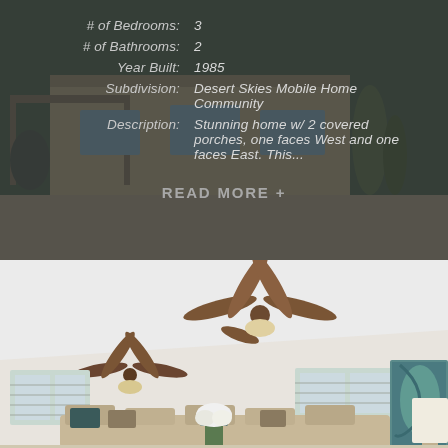[Figure (photo): Exterior photo of a single-story mobile home with covered carport, desert landscaping, and a muted sandy/tan exterior, partially obscured by dark overlay]
# of Bedrooms: 3
# of Bathrooms: 2
Year Built: 1985
Subdivision: Desert Skies Mobile Home Community
Description: Stunning home w/ 2 covered porches, one faces West and one faces East. This...
READ MORE +
[Figure (photo): Interior photo of a bright, open living room with vaulted ceiling, two ceiling fans, large windows with shutters, a sofa with decorative pillows, and a large teal abstract wall painting]